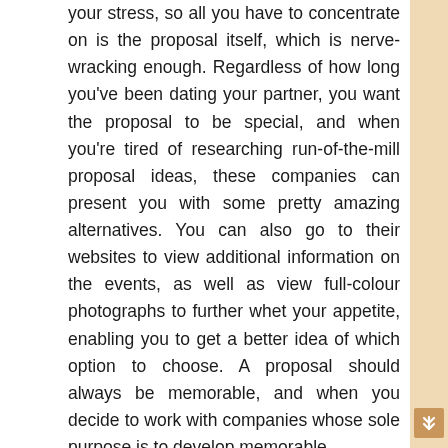your stress, so all you have to concentrate on is the proposal itself, which is nerve-wracking enough. Regardless of how long you've been dating your partner, you want the proposal to be special, and when you're tired of researching run-of-the-mill proposal ideas, these companies can present you with some pretty amazing alternatives. You can also go to their websites to view additional information on the events, as well as view full-colour photographs to further whet your appetite, enabling you to get a better idea of which option to choose. A proposal should always be memorable, and when you decide to work with companies whose sole purpose is to develop memorable